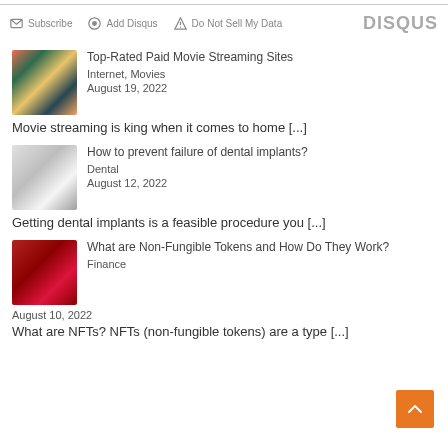Subscribe  Add Disqus  Do Not Sell My Data  DISQUS
Top-Rated Paid Movie Streaming Sites
Internet, Movies
August 19, 2022
Movie streaming is king when it comes to home [...]
How to prevent failure of dental implants?
Dental
August 12, 2022
Getting dental implants is a feasible procedure you [...]
What are Non-Fungible Tokens and How Do They Work?
Finance
August 10, 2022
What are NFTs? NFTs (non-fungible tokens) are a type [...]